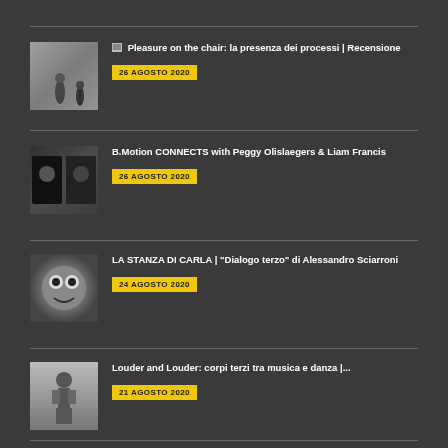Pleasure on the chair: la presenza dei processi | Recensione — 26 AGOSTO 2020
B.Motion CONNECTS with Peggy Olislaegers & Liam Francis — 26 AGOSTO 2020
LA STANZA DI CARLA | "Dialogo terzo" di Alessandro Sciarroni — 24 AGOSTO 2020
Louder and Louder: corpi terzi tra musica e danza |... — 21 AGOSTO 2020